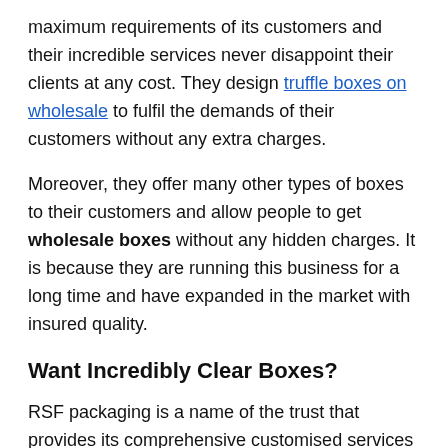maximum requirements of its customers and their incredible services never disappoint their clients at any cost. They design truffle boxes on wholesale to fulfil the demands of their customers without any extra charges.
Moreover, they offer many other types of boxes to their customers and allow people to get wholesale boxes without any hidden charges. It is because they are running this business for a long time and have expanded in the market with insured quality.
Want Incredibly Clear Boxes?
RSF packaging is a name of the trust that provides its comprehensive customised services to its valuable clients. People can place their order for clear truffle boxes without any delay and get at their place in the committed time.